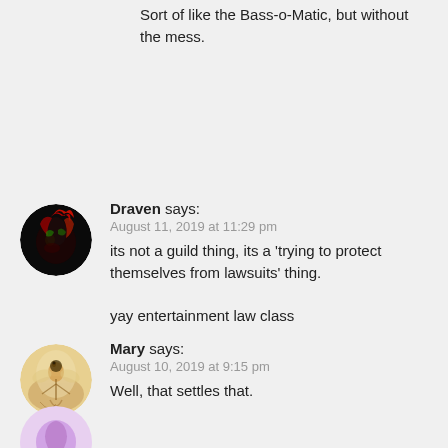Sort of like the Bass-o-Matic, but without the mess.
Draven says:
August 11, 2019 at 11:29 pm
its not a guild thing, its a ‘trying to protect themselves from lawsuits’ thing.

yay entertainment law class
Mary says:
August 10, 2019 at 9:15 pm
Well, that settles that.